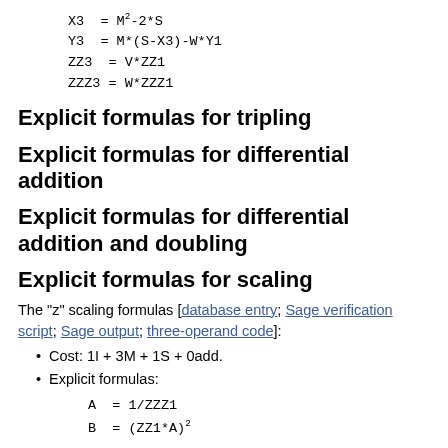Explicit formulas for tripling
Explicit formulas for differential addition
Explicit formulas for differential addition and doubling
Explicit formulas for scaling
The "z" scaling formulas [database entry; Sage verification script; Sage output; three-operand code]:
Cost: 1I + 3M + 1S + 0add.
Explicit formulas: